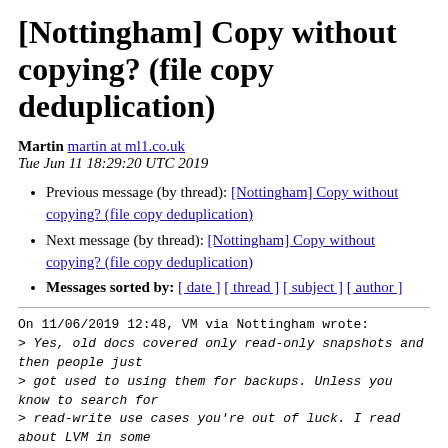[Nottingham] Copy without copying? (file copy deduplication)
Martin martin at ml1.co.uk
Tue Jun 11 18:29:20 UTC 2019
Previous message (by thread): [Nottingham] Copy without copying? (file copy deduplication)
Next message (by thread): [Nottingham] Copy without copying? (file copy deduplication)
Messages sorted by: [ date ] [ thread ] [ subject ] [ author ]
On 11/06/2019 12:48, VM via Nottingham wrote:
> Yes, old docs covered only read-only snapshots and then people just
> got used to using them for backups. Unless you know to search for
> read-write use cases you're out of luck. I read about LVM in some
> Linux magazine (Linux Voice?) ages ago. Your rant element is not